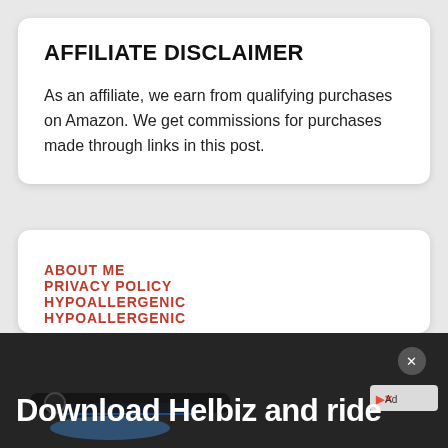AFFILIATE DISCLAIMER
As an affiliate, we earn from qualifying purchases on Amazon. We get commissions for purchases made through links in this post.
ABOUT ME
PRIVACY POLICY
HYPOALLERGENIC
HYPOALLERGENIC
[Figure (photo): Advertisement banner at the bottom: dark background with a bicycle handlebar photo and text 'Download Helbiz and ride' in white bold font, with a close button and ad icon in the top right.]